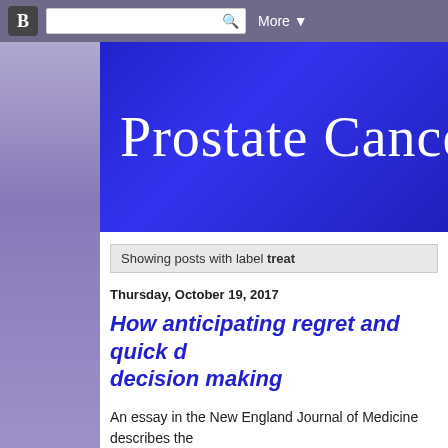Blogger nav bar with B icon, search box, and More button
Prostate Cancer
Showing posts with label treat
Thursday, October 19, 2017
How anticipating regret and quick decision making
An essay in the New England Journal of Medicine describes the always involves self-recrimination and not just disappointment
They breakdown treatment regret into different causes: